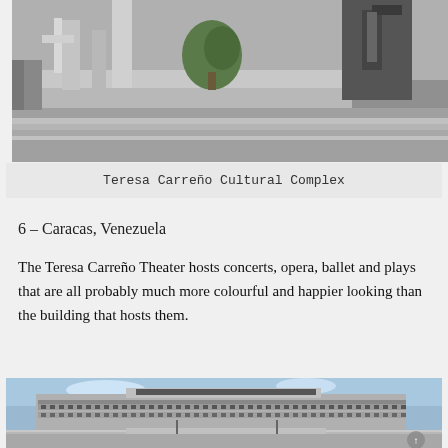[Figure (photo): Brutalist concrete architecture of Teresa Carreño Cultural Complex, viewed from outside with steps and geometric concrete forms]
Teresa Carreño Cultural Complex
6 – Caracas, Venezuela
The Teresa Carreño Theater hosts concerts, opera, ballet and plays that are all probably much more colourful and happier looking than the building that hosts them.
[Figure (photo): Brutalist concrete government or civic building with wide horizontal facade, repetitive windows, and open plaza in foreground under blue sky]